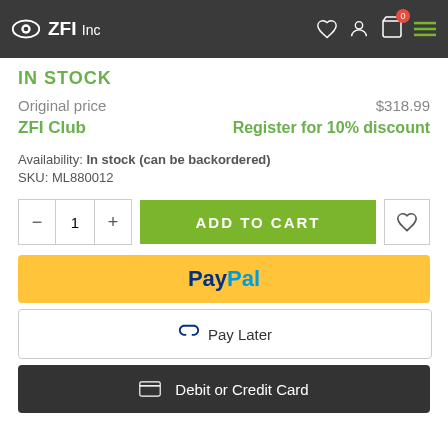ZFI Inc — navigation header with logo, heart, user, cart (0), menu icons
IN STOCK
Original price  $318.99
ZFI Club  Register for 10% discount
Availability: In stock (can be backordered)
SKU: ML880012
[Figure (screenshot): Add to cart controls: quantity selector (minus, 1, plus), green ADD TO CART button, heart/wishlist button]
[Figure (screenshot): PayPal payment button (yellow background)]
[Figure (screenshot): Pay Later button with PayPal P logo]
[Figure (screenshot): Debit or Credit Card payment button (dark background)]